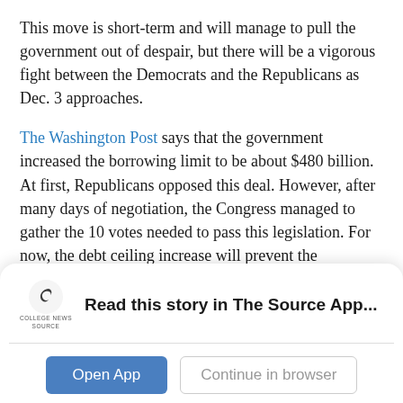This move is short-term and will manage to pull the government out of despair, but there will be a vigorous fight between the Democrats and the Republicans as Dec. 3 approaches.
The Washington Post says that the government increased the borrowing limit to be about $480 billion. At first, Republicans opposed this deal. However, after many days of negotiation, the Congress managed to gather the 10 votes needed to pass this legislation. For now, the debt ceiling increase will prevent the government from “running out of money” as it was previously predicted for Oct.
Read this story in The Source App...
Open App
Continue in browser